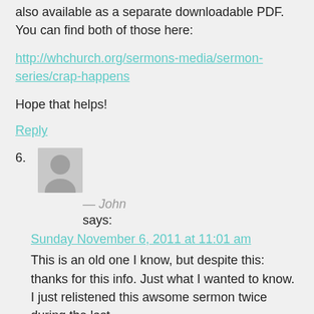also available as a separate downloadable PDF. You can find both of those here:
http://whchurch.org/sermons-media/sermon-series/crap-happens
Hope that helps!
Reply
6. — John says:
Sunday November 6, 2011 at 11:01 am
This is an old one I know, but despite this: thanks for this info. Just what I wanted to know. I just relistened this awsome sermon twice during the last